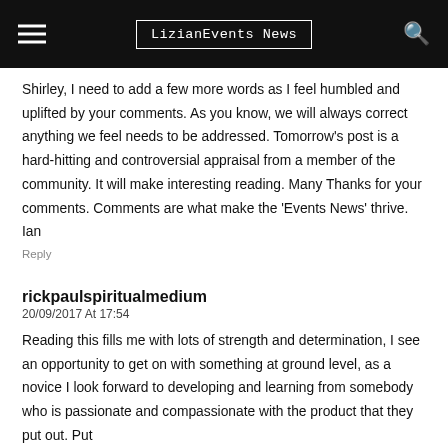LizianEvents News
Shirley, I need to add a few more words as I feel humbled and uplifted by your comments. As you know, we will always correct anything we feel needs to be addressed. Tomorrow's post is a hard-hitting and controversial appraisal from a member of the community. It will make interesting reading. Many Thanks for your comments. Comments are what make the 'Events News' thrive. Ian
Reply
rickpaulspiritualmedium
20/09/2017 At 17:54
Reading this fills me with lots of strength and determination, I see an opportunity to get on with something at ground level, as a novice I look forward to developing and learning from somebody who is passionate and compassionate with the product that they put out. Put